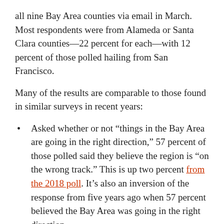all nine Bay Area counties via email in March. Most respondents were from Alameda or Santa Clara counties—22 percent for each—with 12 percent of those polled hailing from San Francisco.
Many of the results are comparable to those found in similar surveys in recent years:
Asked whether or not “things in the Bay Area are going in the right direction,” 57 percent of those polled said they believe the region is “on the wrong track.” This is up two percent from the 2018 poll. It’s also an inversion of the response from five years ago when 57 percent believed the Bay Area was going in the right direction.
Asked about the number-one problem in the Bay